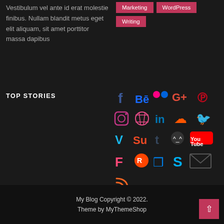Vestibulum vel ante id erat molestie finibus. Nullam blandit metus eget elit aliquam, sit amet porttitor massa dapibus
Marketing
WordPress
Writing
TOP STORIES
[Figure (infographic): Social media icon grid: Facebook, Behance, Flickr, Google+, Pinterest, Instagram, Dribbble, LinkedIn, SoundCloud, Twitter, Vimeo, StumbleUpon, Tumblr, GitHub (Octocat), YouTube, Foursquare, Reddit, Dropbox, Skype, Email, RSS]
My Blog Copyright © 2022.
Theme by MyThemeShop